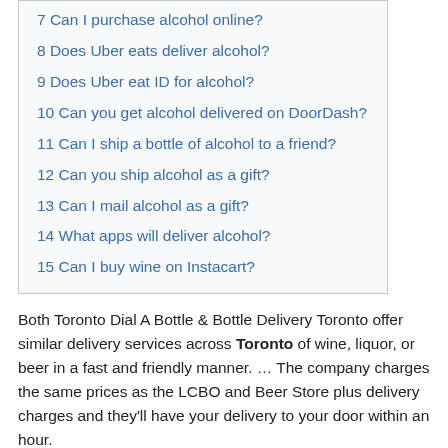7 Can I purchase alcohol online?
8 Does Uber eats deliver alcohol?
9 Does Uber eat ID for alcohol?
10 Can you get alcohol delivered on DoorDash?
11 Can I ship a bottle of alcohol to a friend?
12 Can you ship alcohol as a gift?
13 Can I mail alcohol as a gift?
14 What apps will deliver alcohol?
15 Can I buy wine on Instacart?
Both Toronto Dial A Bottle & Bottle Delivery Toronto offer similar delivery services across Toronto of wine, liquor, or beer in a fast and friendly manner. … The company charges the same prices as the LCBO and Beer Store plus delivery charges and they'll have your delivery to your door within an hour.
Moreover, is alcohol delivery legal in Ontario? The province is